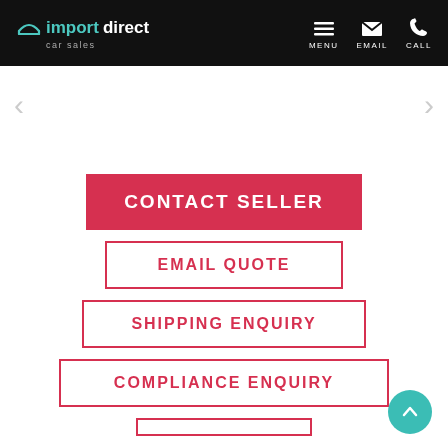[Figure (logo): Import Direct Car Sales logo with teal car icon, white text on black header background]
MENU  EMAIL  CALL
< (previous arrow)
> (next arrow)
CONTACT SELLER
EMAIL QUOTE
SHIPPING ENQUIRY
COMPLIANCE ENQUIRY